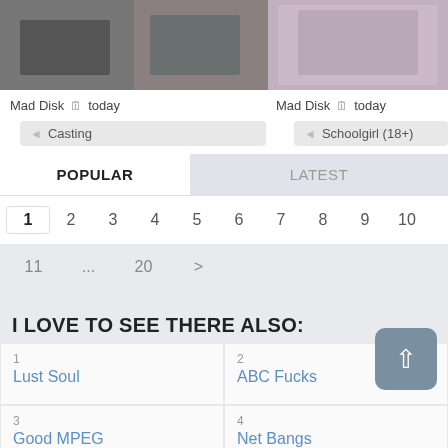[Figure (photo): Two thumbnail images side by side: left shows bedroom scene, right shows person in checkered outfit on bed]
Mad Disk  📅 today    Mad Disk  📅 today
Casting    Schoolgirl (18+)
POPULAR    LATEST
1  2  3  4  5  6  7  8  9  10
11  ...  20  >
I LOVE TO SEE THERE ALSO:
1
Lust Soul
2
ABC Fucks
3
Good MPEG
4
Net Bangs
5
6